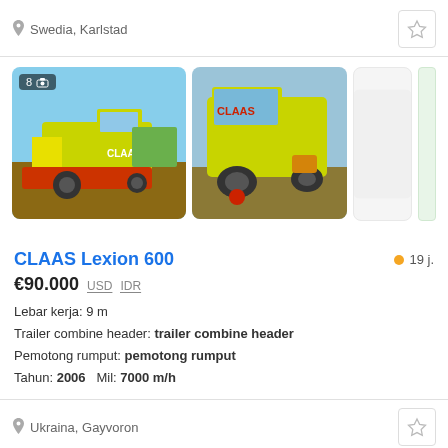Swedia, Karlstad
[Figure (photo): CLAAS combine harvester with red header attachment in field, thumbnail 1 of 8]
[Figure (photo): CLAAS combine harvester side view, lime green color, thumbnail 2]
[Figure (photo): Empty third image slot placeholder]
CLAAS Lexion 600
19 j.
€90.000  USD  IDR
Lebar kerja: 9 m
Trailer combine header: trailer combine header
Pemotong rumput: pemotong rumput
Tahun: 2006   Mil: 7000 m/h
Ukraina, Gayvoron